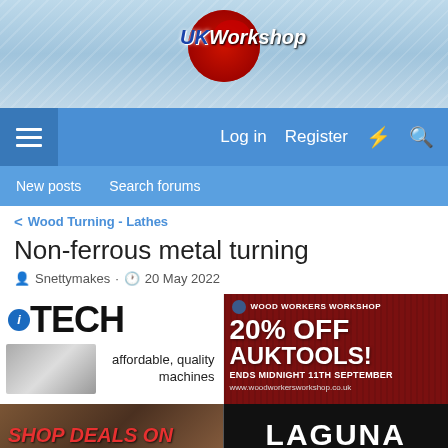UKWorkshop
Log in  Register
New posts  Search forums
< Wood Turning - Lathes
Non-ferrous metal turning
Snettymakes · 20 May 2022
[Figure (photo): iTECH advertisement - affordable, quality machines]
[Figure (photo): Wood Workers Workshop - 20% OFF AUKTOOLS! ENDS MIDNIGHT 11TH SEPTEMBER - www.woodworkersworkshop.co.uk]
[Figure (photo): Shop Deals On advertisement]
[Figure (logo): Laguna logo on black background]
Report Ad
LT Rush Stone & Fireplace - Don't waste time trying to DIY. Reach out to Hearth Experts for your fireplace needs.